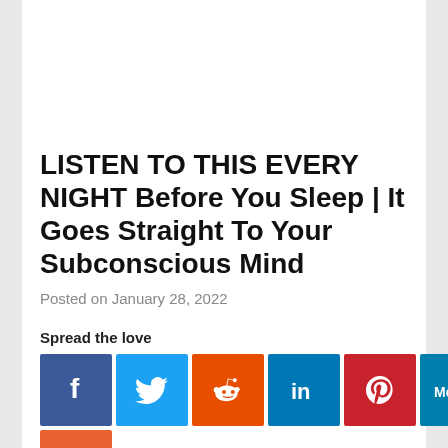LISTEN TO THIS EVERY NIGHT Before You Sleep | It Goes Straight To Your Subconscious Mind
Posted on January 28, 2022
Spread the love
[Figure (other): Social media sharing buttons: Facebook, Twitter, Reddit, LinkedIn, Pinterest, MeWe, Mix, WhatsApp, Share]
Spread the loveReprogram Your Mind To Always Think Positive – It Goes Straight To Your